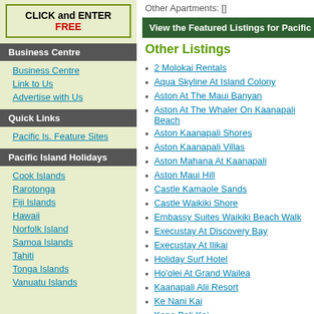[Figure (other): CLICK and ENTER FREE banner button]
Business Centre
Business Centre
Link to Us
Advertise with Us
Quick Links
Pacific Is. Feature Sites
Pacific Island Holidays
Cook Islands
Rarotonga
Fiji Islands
Hawaii
Norfolk Island
Samoa Islands
Tahiti
Tonga Islands
Vanuatu Islands
Other Apartments: []
View the Featured Listings for Pacific Island
Other Listings
2 Molokai Rentals
Aqua Skyline At Island Colony
Aston At The Maui Banyan
Aston At The Whaler On Kaanapali Beach
Aston Kaanapali Shores
Aston Kaanapali Villas
Aston Mahana At Kaanapali
Aston Maui Hill
Castle Kamaole Sands
Castle Waikiki Shore
Embassy Suites Waikiki Beach Walk
Execustay At Discovery Bay
Execustay At Ilikai
Holiday Surf Hotel
Ho'olei At Grand Wailea
Kaanapali Alii Resort
Ke Nani Kai
Kona Bali Kai
Makena Beach And Golf Resort